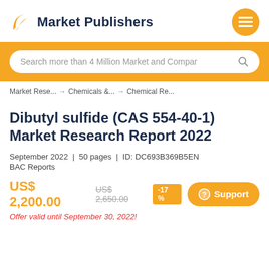Market Publishers
Search more than 4 Million Market and Compar
Market Rese... → Chemicals &... → Chemical Re...
Dibutyl sulfide (CAS 554-40-1) Market Research Report 2022
September 2022 | 50 pages | ID: DC693B369B5EN
BAC Reports
US$ 2,200.00  US$ 2,650.00  -17 %
Offer valid until September 30, 2022!